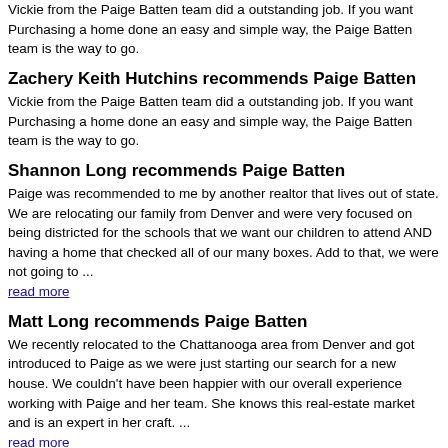Vickie from the Paige Batten team did a outstanding job. If you want Purchasing a home done an easy and simple way, the Paige Batten team is the way to go.
Zachery Keith Hutchins recommends Paige Batten
Vickie from the Paige Batten team did a outstanding job. If you want Purchasing a home done an easy and simple way, the Paige Batten team is the way to go.
Shannon Long recommends Paige Batten
Paige was recommended to me by another realtor that lives out of state. We are relocating our family from Denver and were very focused on being districted for the schools that we want our children to attend AND having a home that checked all of our many boxes. Add to that, we were not going to ... read more
Matt Long recommends Paige Batten
We recently relocated to the Chattanooga area from Denver and got introduced to Paige as we were just starting our search for a new house. We couldn't have been happier with our overall experience working with Paige and her team. She knows this real-estate market and is an expert in her craft. ... read more
Ashton Harris recommends Paige Batten
Paige Batten and her team were committed in finding our